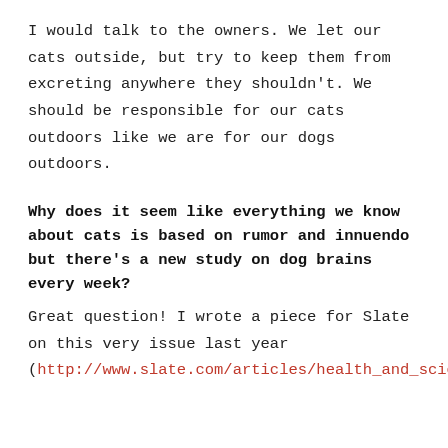I would talk to the owners. We let our cats outside, but try to keep them from excreting anywhere they shouldn't. We should be responsible for our cats outdoors like we are for our dogs outdoors.
Why does it seem like everything we know about cats is based on rumor and innuendo but there's a new study on dog brains every week?
Great question! I wrote a piece for Slate on this very issue last year (http://www.slate.com/articles/health_and_science/science/2014/04/cat_intelligence_and_cognition_are_cats_smarter_than_dogs.html)